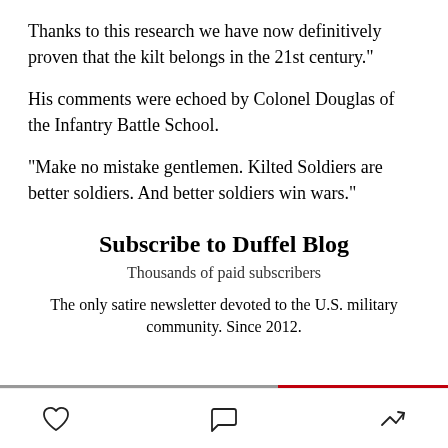Thanks to this research we have now definitively proven that the kilt belongs in the 21st century."
His comments were echoed by Colonel Douglas of the Infantry Battle School.
"Make no mistake gentlemen. Kilted Soldiers are better soldiers. And better soldiers win wars."
Subscribe to Duffel Blog
Thousands of paid subscribers
The only satire newsletter devoted to the U.S. military community. Since 2012.